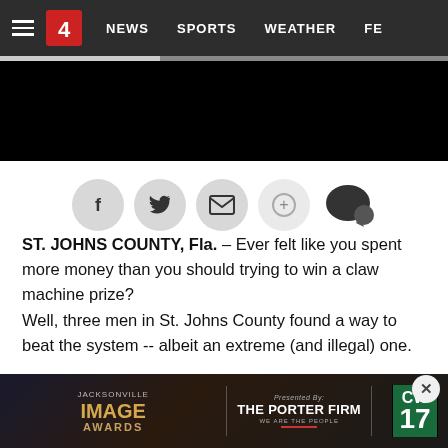NEWS  SPORTS  WEATHER  FE...
[Figure (screenshot): Social sharing buttons row: Facebook, Twitter, Email, Share, Comment icons]
ST. JOHNS COUNTY, Fla. – Ever felt like you spent more money than you should trying to win a claw machine prize?
Well, three men in St. Johns County found a way to beat the system -- albeit an extreme (and illegal) one.
They decided to just take off with the whole machine.
[Figure (screenshot): Advertisement banner: Jacksonville Image Awards presented by The Porter Firm, CW17 logo]